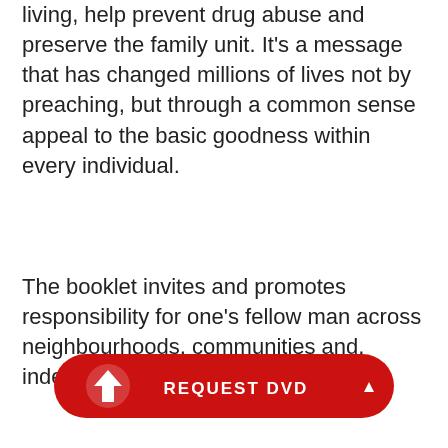living, help prevent drug abuse and preserve the family unit. It's a message that has changed millions of lives not by preaching, but through a common sense appeal to the basic goodness within every individual.
The booklet invites and promotes responsibility for one's fellow man across neighbourhoods, communities and, indeed, the world.
In the workplace: For three decades, The Way to Happiness has measurably improved employee attitudes, conduct and problem-solving skills.
In the stre... The Way to... prevention tool has prompted law
[Figure (other): Red pill-shaped button with a white flame/arrow icon on the left and the text REQUEST DVD in white capital letters, with a white up-arrow (caret) on the right.]